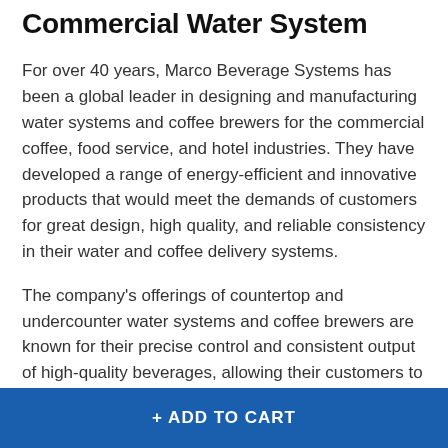Commercial Water System
For over 40 years, Marco Beverage Systems has been a global leader in designing and manufacturing water systems and coffee brewers for the commercial coffee, food service, and hotel industries. They have developed a range of energy-efficient and innovative products that would meet the demands of customers for great design, high quality, and reliable consistency in their water and coffee delivery systems.
The company's offerings of countertop and undercounter water systems and coffee brewers are known for their precise control and consistent output of high-quality beverages, allowing their customers to deliver an excellent beverage experience. Their systems are widely used in a
+ ADD TO CART